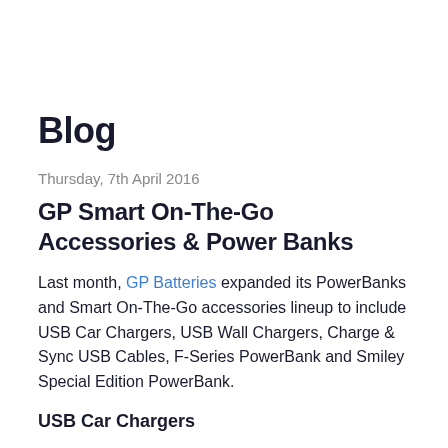Blog
Thursday, 7th April 2016
GP Smart On-The-Go Accessories & Power Banks
Last month, GP Batteries expanded its PowerBanks and Smart On-The-Go accessories lineup to include USB Car Chargers, USB Wall Chargers, Charge & Sync USB Cables, F-Series PowerBank and Smiley Special Edition PowerBank.
USB Car Chargers